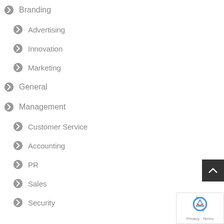Branding
Advertising
Innovation
Marketing
General
Management
Customer Service
Accounting
PR
Sales
Security